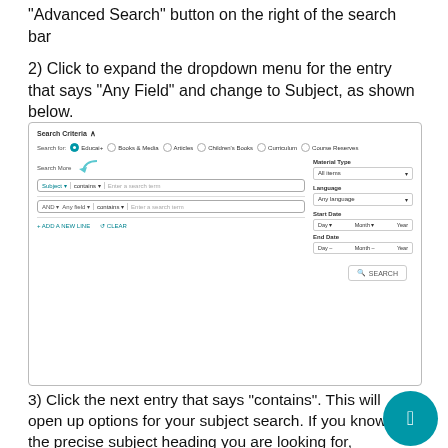"Advanced Search" button on the right of the search bar
2) Click to expand the dropdown menu for the entry that says "Any Field" and change to Subject, as shown below.
[Figure (screenshot): Screenshot of a library catalog Search Criteria panel showing search fields. 'Subject' is selected in the first field dropdown (with a blue arrow pointing to it), 'contains' in the next, and a text entry box. A second AND row shows 'Any field', 'contains', and a text entry box. Right panel shows Material Type (All Items), Language (Any language), Start Date, End Date. Bottom row has ADD A NEW LINE, CLEAR, and SEARCH button.]
3) Click the next entry that says "contains". This will open up options for your subject search. If you know the precise subject heading you are looking for, choose "is (exact)". If you are not sure of the exact subject heading, choose either "contains" or "starts with".